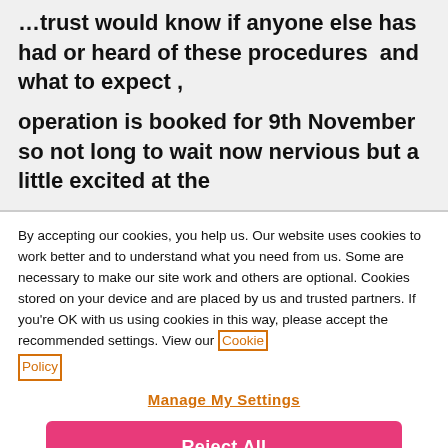…trust would know if anyone else has had or heard of these procedures and what to expect , operation is booked for 9th November so not long to wait now nervious but a little excited at the
By accepting our cookies, you help us. Our website uses cookies to work better and to understand what you need from us. Some are necessary to make our site work and others are optional. Cookies stored on your device and are placed by us and trusted partners. If you're OK with us using cookies in this way, please accept the recommended settings. View our Cookie Policy
Manage My Settings
Reject All
Accept All Cookies